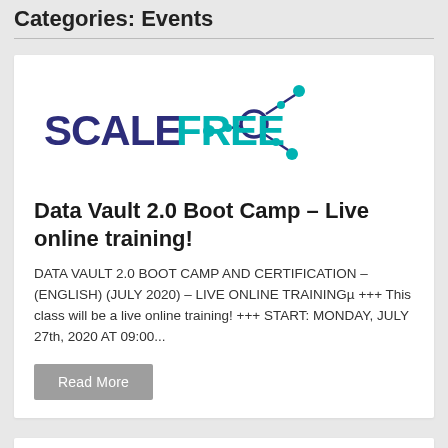Categories: Events
[Figure (logo): Scalefree logo with network icon in teal/dark blue and text SCALEFREE]
Data Vault 2.0 Boot Camp – Live online training!
DATA VAULT 2.0 BOOT CAMP AND CERTIFICATION – (ENGLISH) (JULY 2020) – LIVE ONLINE TRAININGµ +++ This class will be a live online training! +++ START: MONDAY, JULY 27th, 2020 AT 09:00...
Read More
[Figure (logo): IT Works magazine logo with '25' badge and 'Strategic IT Information' tagline]